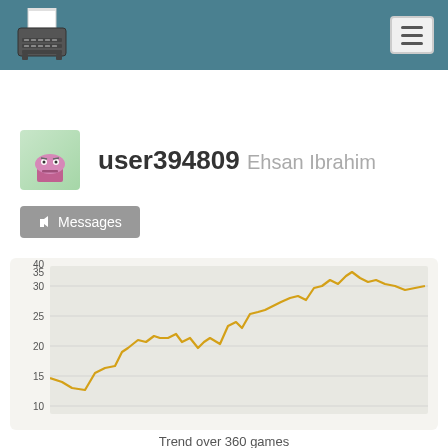Navigation header with typewriter logo and hamburger menu
user394809  Ehsan Ibrahim
Messages
[Figure (line-chart): Line chart showing trend over 360 games, values rise from about 13 to 37, with initial low around 13, climbing through 20s by mid-chart, then reaching upper 30s toward the end.]
Trend over 360 games